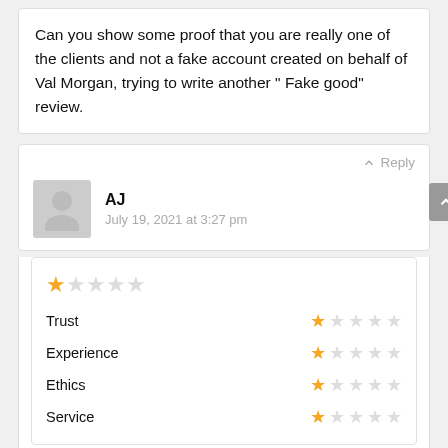Can you show some proof that you are really one of the clients and not a fake account created on behalf of Val Morgan, trying to write another " Fake good" review.
↑ Reply
AJ
July 19, 2021 at 3:27 pm
[Figure (other): Star rating panel showing overall 1-star and individual category ratings: Trust 1-star, Experience 1-star, Ethics 1-star, Service 1-star out of 5]